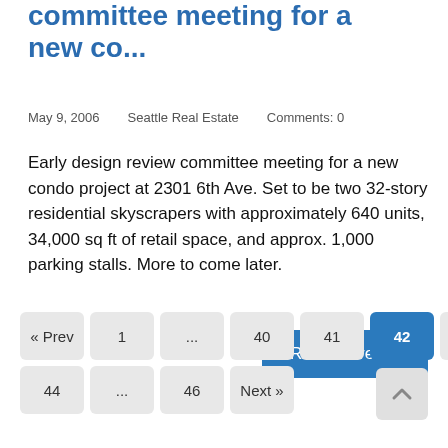committee meeting for a new co...
May 9, 2006    Seattle Real Estate    Comments: 0
Early design review committee meeting for a new condo project at 2301 6th Ave. Set to be two 32-story residential skyscrapers with approximately 640 units, 34,000 sq ft of retail space, and approx. 1,000 parking stalls. More to come later.
Read more ▶
« Prev  1  ...  40  41  42  43  44  ...  46  Next »